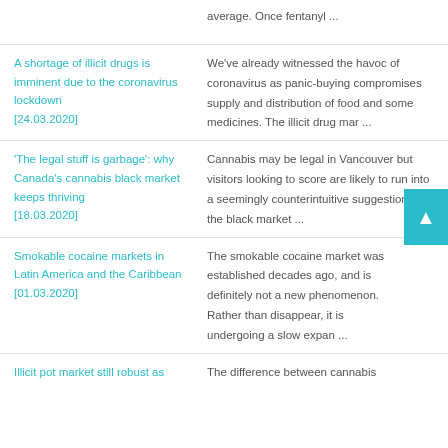average. Once fentanyl ...
A shortage of illicit drugs is imminent due to the coronavirus lockdown [24.03.2020]
We've already witnessed the havoc of coronavirus as panic-buying compromises supply and distribution of food and some medicines. The illicit drug mar ...
'The legal stuff is garbage': why Canada's cannabis black market keeps thriving [18.03.2020]
Cannabis may be legal in Vancouver but visitors looking to score are likely to run into a seemingly counterintuitive suggestion: try the black market ...
Smokable cocaine markets in Latin America and the Caribbean [01.03.2020]
The smokable cocaine market was established decades ago, and is definitely not a new phenomenon. Rather than disappear, it is undergoing a slow expan ...
Illicit pot market still robust as
The difference between cannabis